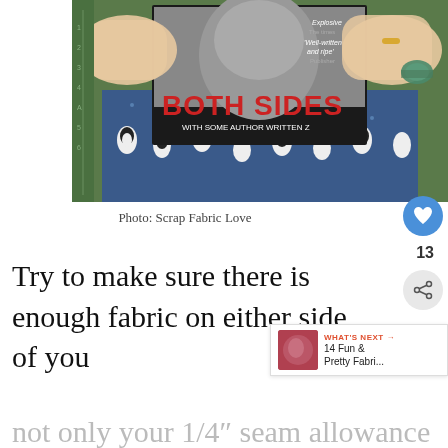[Figure (photo): Hands holding a book titled 'Both Sides' over blue fabric with penguin pattern on a green cutting mat]
Photo: Scrap Fabric Love
Try to make sure there is enough fabric on either side of you (when sat on top of the fabric) for not only your 1/4" seam allowance